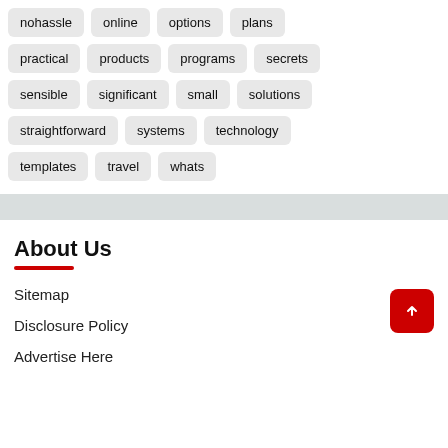nohassle
online
options
plans
practical
products
programs
secrets
sensible
significant
small
solutions
straightforward
systems
technology
templates
travel
whats
About Us
Sitemap
Disclosure Policy
Advertise Here